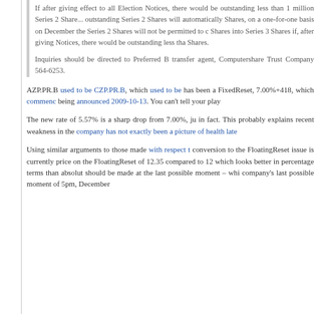If after giving effect to all Election Notices, there would be outstanding less than 1 million Series 2 Shares, the outstanding Series 2 Shares will automatically convert to Series 3 Shares, on a one-for-one basis on December 31, 2015. Holders of the Series 2 Shares will not be permitted to convert their Series 2 Shares into Series 3 Shares if, after giving effect to all Election Notices, there would be outstanding less than 1 million Series 3 Shares.
Inquiries should be directed to Preferred B... transfer agent, Computershare Trust Company... 564-6253.
AZP.PR.B used to be CZP.PR.B, which used to be... has been a FixedReset, 7.00%+418, which commenced... being announced 2009-10-13. You can't tell your play...
The new rate of 5.57% is a sharp drop from 7.00%, ju... in fact. This probably explains recent weakness in the... company has not exactly been a picture of health late...
Using similar arguments to those made with respect t... conversion to the FloatingReset issue is currently... price on the FloatingReset of 12.35 compared to 12... which looks better in percentage terms than absolut... should be made at the last possible moment – whi... company's last possible moment of 5pm, December...